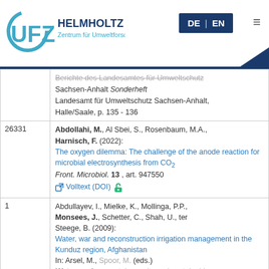UFZ Helmholtz Zentrum für Umweltforschung — DE | EN
| ID | Reference |
| --- | --- |
|  | Berichte des Landesamtes für Umweltschutz Sachsen-Anhalt Sonderheft Landesamt für Umweltschutz Sachsen-Anhalt, Halle/Saale, p. 135 - 136 |
| 26331 | Abdollahi, M., Al Sbei, S., Rosenbaum, M.A., Harnisch, F. (2022): The oxygen dilemma: The challenge of the anode reaction for microbial electrosynthesis from CO₂ Front. Microbiol. 13 , art. 947550 Volltext (DOI) |
| 1 | Abdullayev, I., Mielke, K., Mollinga, P.P., Monsees, J., Schetter, C., Shah, U., ter Steege, B. (2009): Water, war and reconstruction irrigation management in the Kunduz region, Afghanistan In: Arsel, M., Spoor, M. (eds.) Water, environmental security and sustainable |